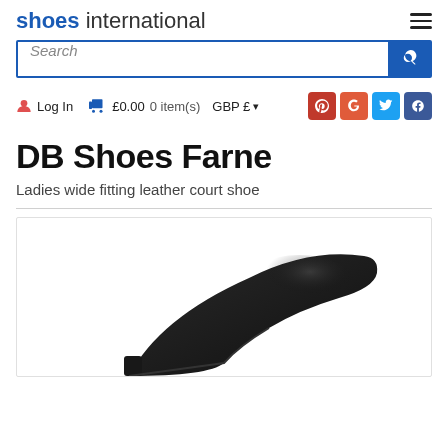shoes international
Search
Log In  £0.00 0 item(s)  GBP £
DB Shoes Farne
Ladies wide fitting leather court shoe
[Figure (photo): Partial photo of a black ladies court shoe (DB Shoes Farne) showing the toe and heel area against a white background]